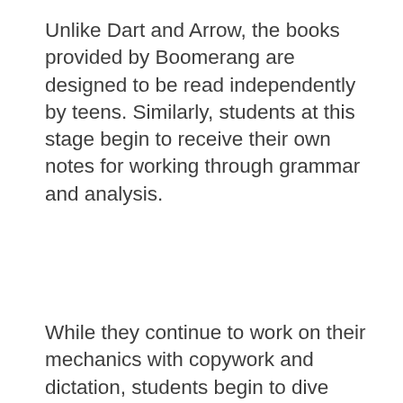Unlike Dart and Arrow, the books provided by Boomerang are designed to be read independently by teens. Similarly, students at this stage begin to receive their own notes for working through grammar and analysis.
While they continue to work on their mechanics with copywork and dictation, students begin to dive deeper into literary analysis through Think Pieces, where they
We use cookies on our website to give you the most relevant experience by remembering your preferences and repeat visits. See our Privacy Policy and Cookie Policy for more information. By clicking “Accept”, you consent to the use of all the cookies.
Cookie settings
ACCEPT